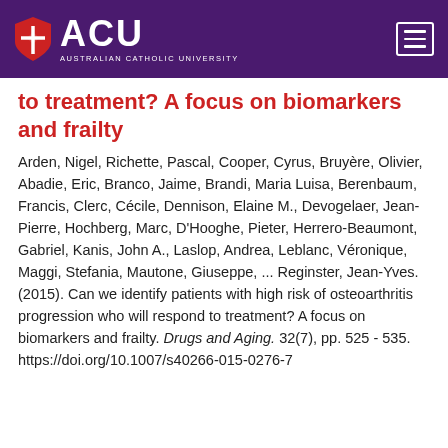[Figure (logo): Australian Catholic University (ACU) logo with shield icon and hamburger menu button on purple header bar]
to treatment? A focus on biomarkers and frailty
Arden, Nigel, Richette, Pascal, Cooper, Cyrus, Bruyère, Olivier, Abadie, Eric, Branco, Jaime, Brandi, Maria Luisa, Berenbaum, Francis, Clerc, Cécile, Dennison, Elaine M., Devogelaer, Jean-Pierre, Hochberg, Marc, D'Hooghe, Pieter, Herrero-Beaumont, Gabriel, Kanis, John A., Laslop, Andrea, Leblanc, Véronique, Maggi, Stefania, Mautone, Giuseppe, ... Reginster, Jean-Yves. (2015). Can we identify patients with high risk of osteoarthritis progression who will respond to treatment? A focus on biomarkers and frailty. Drugs and Aging. 32(7), pp. 525 - 535. https://doi.org/10.1007/s40266-015-0276-7